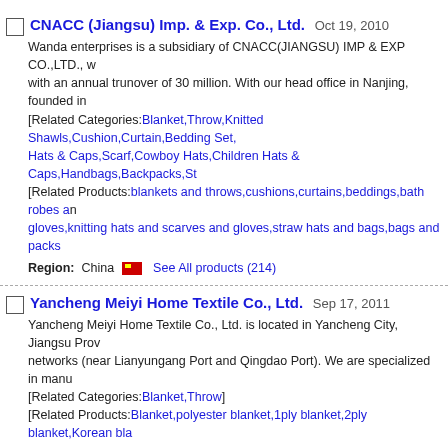CNACC (Jiangsu) Imp. & Exp. Co., Ltd. Oct 19, 2010
Wanda enterprises is a subsidiary of CNACC(JIANGSU) IMP & EXP CO.,LTD., with an annual trunover of 30 million. With our head office in Nanjing, founded in
[Related Categories: Blanket,Throw,Knitted Shawls,Cushion,Curtain,Bedding Set, Hats & Caps,Scarf,Cowboy Hats,Children Hats & Caps,Handbags,Backpacks,St...]
[Related Products: blankets and throws,cushions,curtains,beddings,bath robes and gloves,knitting hats and scarves and gloves,straw hats and bags,bags and packs...]
Region: China  See All products (214)
Yancheng Meiyi Home Textile Co., Ltd. Sep 17, 2011
Yancheng Meiyi Home Textile Co., Ltd. is located in Yancheng City, Jiangsu Prov... networks (near Lianyungang Port and Qingdao Port). We are specialized in manu...
[Related Categories: Blanket,Throw]
[Related Products: Blanket,polyester blanket,1ply blanket,2ply blanket,Korean bla...]
Region: China  See All products (24)
Changshu Yingzi Textile Co., Ltd. Sep 16, 2011
Changshu Yingzi Textile Co., Ltd. is located in Changshu City of Jiangsu Province... company is about 100KM away from Shanghai and 50KM away from Suzhou. Ou...
[Related Categories: Baby Sleeping Bags,Bathrobes,Baby Rompers,Blanket,Thr... Caps,Baby Hats & Caps,Book Cover,Cushion,Pillow,Other Home Textile,Strollers...]
[Related Products: Baby product,baby wear,baby bedding set,bath robe,blanket ]